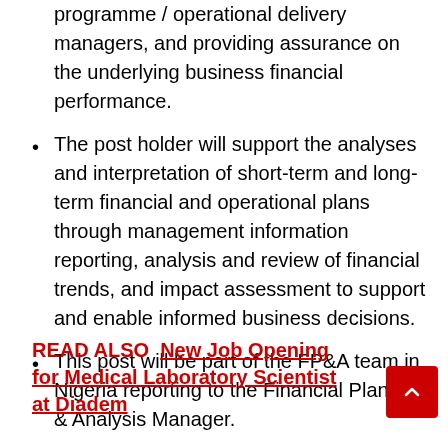programme / operational delivery managers, and providing assurance on the underlying business financial performance.
The post holder will support the analyses and interpretation of short-term and long-term financial and operational plans through management information reporting, analysis and review of financial trends, and impact assessment to support and enable informed business decisions.
This post will be part of the FP&A team in Nigeria reporting to the Financial Planning & Analysis Manager.
READ ALSO  New Job Opening for Medical Laboratory Scientist at Diadem